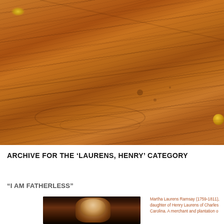[Figure (photo): Close-up photograph of wooden surface with visible grain, scratches, and a golden spot in the upper left and a small gold knob visible at the right edge]
ARCHIVE FOR THE ‘LAURENS, HENRY’ CATEGORY
“I AM FATHERLESS”
[Figure (photo): Portrait painting of a woman, dark background, subject facing slightly to the right]
Martha Laurens Ramsay (1759-1811), daughter of Henry Laurens of Charles Carolina. A merchant and plantation o